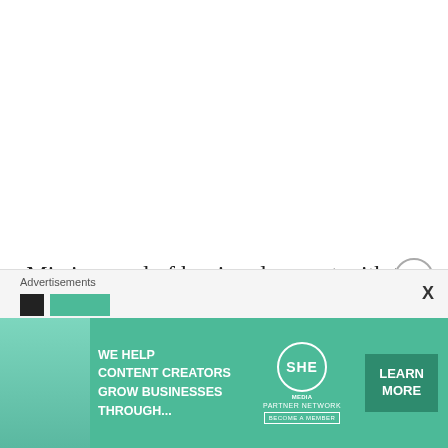Mia is proud of her involvement with the Human Rights Campaign and cheers for each and every victory made in the name of marital equality. Her only major regret: never
[Figure (screenshot): Advertisement overlay with 'Advertisements' label, an arrow icon, a green button partially visible, and a teal/green banner ad for SHE Media Partner Network reading 'WE HELP CONTENT CREATORS GROW BUSINESSES THROUGH...' with a LEARN MORE button and BECOME A MEMBER text.]